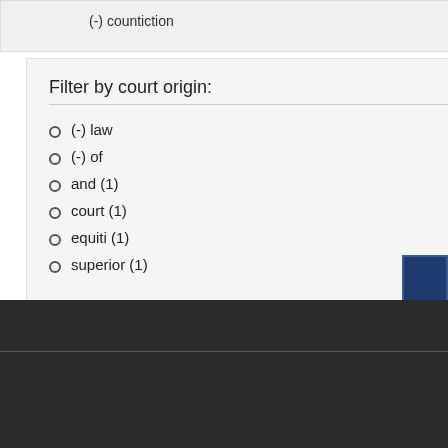(-) countiction
Filter by court origin:
(-) law
(-) of
and (1)
court (1)
equiti (1)
superior (1)
| View Entry | Year | Case Name |
| --- | --- | --- |
| View Entry | 1832 | State v. Shadrack Gentry |
Click Here to Chat with a Librarian